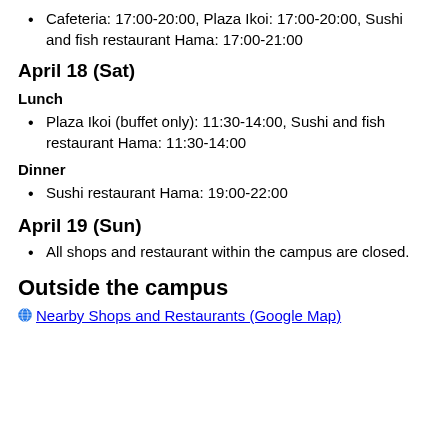Cafeteria: 17:00-20:00, Plaza Ikoi: 17:00-20:00, Sushi and fish restaurant Hama: 17:00-21:00
April 18 (Sat)
Lunch
Plaza Ikoi (buffet only): 11:30-14:00, Sushi and fish restaurant Hama: 11:30-14:00
Dinner
Sushi restaurant Hama: 19:00-22:00
April 19 (Sun)
All shops and restaurant within the campus are closed.
Outside the campus
Nearby Shops and Restaurants (Google Map)